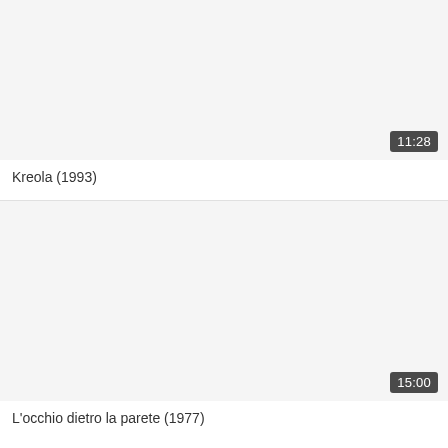[Figure (screenshot): Video thumbnail placeholder for Kreola (1993), light grey/white background]
11:28
Kreola (1993)
[Figure (screenshot): Video thumbnail placeholder for L'occhio dietro la parete (1977), light grey/white background]
15:00
L'occhio dietro la parete (1977)